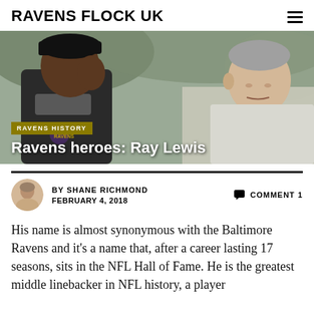RAVENS FLOCK UK
[Figure (photo): Two men in sports attire in an outdoor setting, one wearing a black cap and Ravens jersey, the other in a light grey shirt, appearing to have a conversation.]
RAVENS HISTORY
Ravens heroes: Ray Lewis
BY SHANE RICHMOND   FEBRUARY 4, 2018
COMMENT 1
His name is almost synonymous with the Baltimore Ravens and it's a name that, after a career lasting 17 seasons, sits in the NFL Hall of Fame. He is the greatest middle linebacker in NFL history, a player